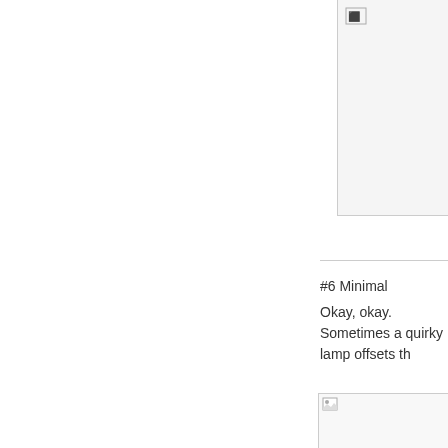[Figure (photo): Partially visible image in upper right corner, mostly cropped out of view, appears to be a room interior photo.]
#6 Minimal
Okay, okay. Sometimes a quirky lamp offsets th
[Figure (photo): Partially visible image in lower right area, appears to be a room interior photo, mostly cropped.]